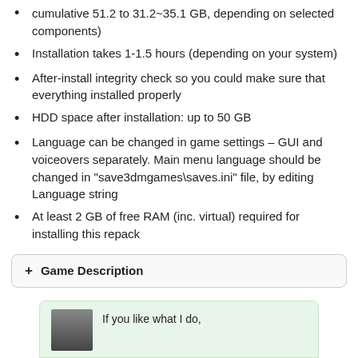cumulative 51.2 to 31.2~35.1 GB, depending on selected components)
Installation takes 1-1.5 hours (depending on your system)
After-install integrity check so you could make sure that everything installed properly
HDD space after installation: up to 50 GB
Language can be changed in game settings – GUI and voiceovers separately. Main menu language should be changed in "save3dmgames\saves.ini" file, by editing Language string
At least 2 GB of free RAM (inc. virtual) required for installing this repack
+ Game Description
If you like what I do,